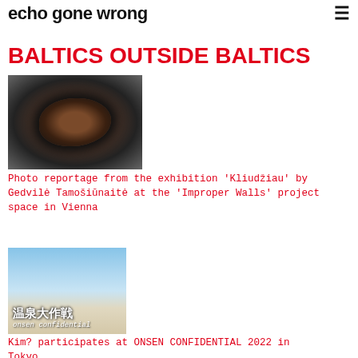Oliver Ressler's 'Barricading the Ice Sheets' heads to Estonia, opens at Tallinn Art Hall
echo gone wrong
BALTICS OUTSIDE BALTICS
[Figure (photo): Close-up photograph of a hole in concrete/stone revealing a dark cavity with reddish-brown interior]
Photo reportage from the exhibition 'Kliudžiau' by Gedvilė Tamošiūnaitė at the 'Improper Walls' project space in Vienna
[Figure (photo): Photograph of an outdoor sign with Japanese kanji characters and 'onsen confidential' text written on it, blue sky background]
Kim? participates at ONSEN CONFIDENTIAL 2022 in Tokyo